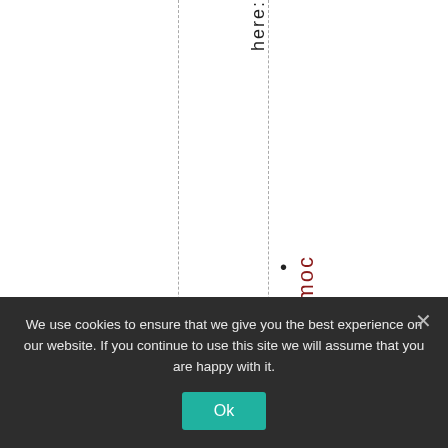here:
Liberal Democ
We use cookies to ensure that we give you the best experience on our website. If you continue to use this site we will assume that you are happy with it.